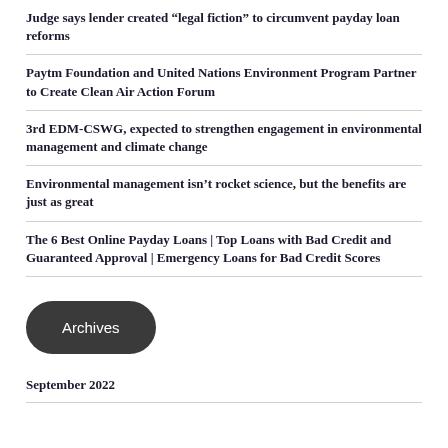Judge says lender created “legal fiction” to circumvent payday loan reforms
Paytm Foundation and United Nations Environment Program Partner to Create Clean Air Action Forum
3rd EDM-CSWG, expected to strengthen engagement in environmental management and climate change
Environmental management isn’t rocket science, but the benefits are just as great
The 6 Best Online Payday Loans | Top Loans with Bad Credit and Guaranteed Approval | Emergency Loans for Bad Credit Scores
Archives
September 2022